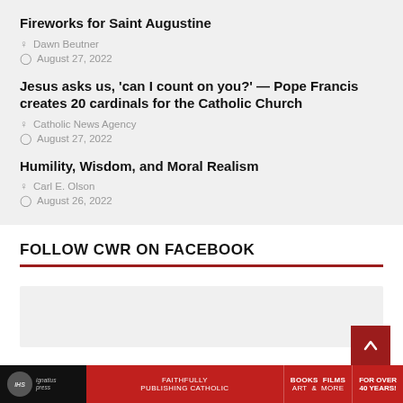Fireworks for Saint Augustine
Dawn Beutner
August 27, 2022
Jesus asks us, 'can I count on you?' — Pope Francis creates 20 cardinals for the Catholic Church
Catholic News Agency
August 27, 2022
Humility, Wisdom, and Moral Realism
Carl E. Olson
August 26, 2022
FOLLOW CWR ON FACEBOOK
[Figure (other): Facebook follow widget placeholder box]
Ignatius Press — FAITHFULLY PUBLISHING CATHOLIC — BOOKS FILMS ART & MORE — FOR OVER 40 YEARS!